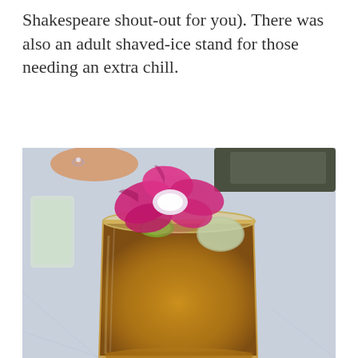Shakespeare shout-out for you). There was also an adult shaved-ice stand for those needing an extra chill.
[Figure (photo): A cocktail in a clear glass filled with amber liquid and ice, garnished with a vibrant magenta-pink orchid flower and a lime wedge, set on a light blue tablecloth. Blurred background shows a hand with a ring and other items on the table.]